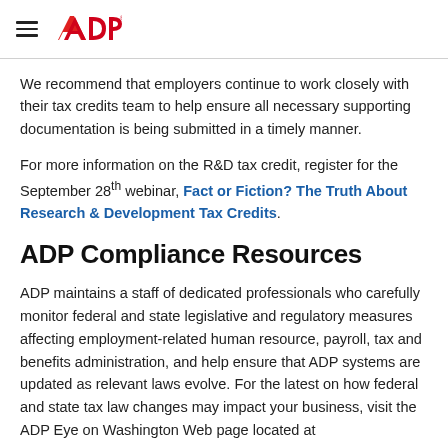ADP logo and navigation menu
We recommend that employers continue to work closely with their tax credits team to help ensure all necessary supporting documentation is being submitted in a timely manner.
For more information on the R&D tax credit, register for the September 28th webinar, Fact or Fiction? The Truth About Research & Development Tax Credits.
ADP Compliance Resources
ADP maintains a staff of dedicated professionals who carefully monitor federal and state legislative and regulatory measures affecting employment-related human resource, payroll, tax and benefits administration, and help ensure that ADP systems are updated as relevant laws evolve. For the latest on how federal and state tax law changes may impact your business, visit the ADP Eye on Washington Web page located at